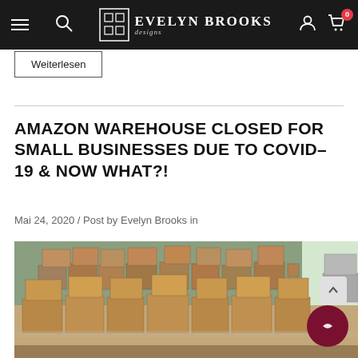Evelyn Brooks Designs — Navigation bar with hamburger menu, search, logo, account, and cart (0 items)
Weiterlesen
AMAZON WAREHOUSE CLOSED FOR SMALL BUSINESSES DUE TO COVID-19 & NOW WHAT?!
Mai 24, 2020 / Post by Evelyn Brooks in
[Figure (photo): Warehouse room filled with numerous stacked cardboard boxes on tables and the floor, with a light green wall in the background and a window on the right side.]